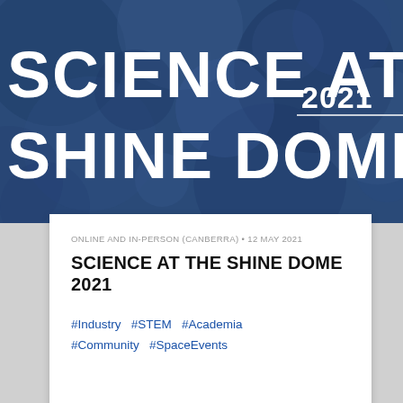[Figure (photo): Banner image with dark blue textured background showing text 'SCIENCE AT THE SHINE DOME 2021' in large white bold letters, partially cropped on the right side]
ONLINE AND IN-PERSON (CANBERRA) • 12 MAY 2021
SCIENCE AT THE SHINE DOME 2021
#Industry  #STEM  #Academia  #Community  #SpaceEvents